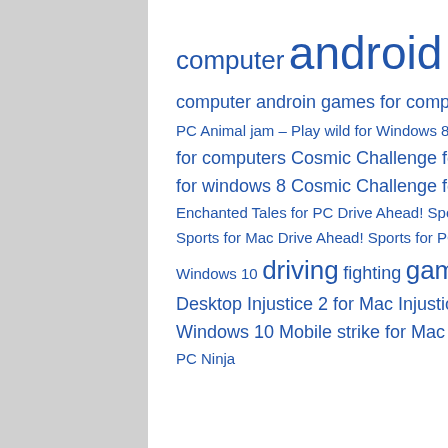computer android games for pc android games for windows computer androin games for computer Animal jam – Play wild for Mac Animal jam – Play wild for PC Animal jam – Play wild for Windows 8 Animal jam – Play wild for Windows 10 Cosmic Challenge for computers Cosmic Challenge for MAC Cosmic Challenge for PC Cosmic Challenge for windows 8 Cosmic Challenge for windows 10 Disney Enchanted Tales for Computers Disney Enchanted Tales for PC Drive Ahead! Sports for Computers Drive Ahead! Sports for Desktop Drive Ahead! Sports for Mac Drive Ahead! Sports for PC Drive Ahead! Sports for Windows 8 Drive Ahead! Sports for Windows 10 driving fighting game gamming Injustice 2 for Computers Injustice 2 for Desktop Injustice 2 for Mac Injustice 2 for PC Injustice 2 for Windows 8 Injustice 2 for Windows 10 Mobile strike for Mac Ninja Turtles: Legends for computers Ninja Turtles: Legends for PC Ninja